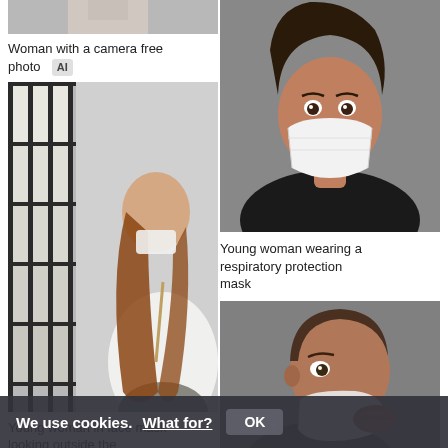[Figure (photo): Partial thumbnail of a photo at top left, cropped]
Woman with a camera free photo  AI
[Figure (photo): Young woman in white sweater and face mask looking outside the window with dark window frames]
Young woman in face mask looking outside the window
[Figure (photo): Young woman with dark skin wearing a white respiratory protection mask against gray background]
Young woman wearing a respiratory protection mask
[Figure (photo): Man in profile view wearing a face mask against gray background]
We use cookies.  What for?  OK